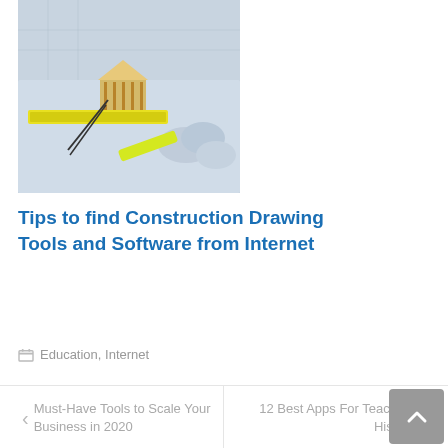[Figure (photo): Construction drawing tools including blueprints, a level, compass, and a small house model on a table]
Tips to find Construction Drawing Tools and Software from Internet
Education, Internet
← Must-Have Tools to Scale Your Business in 2020
12 Best Apps For Teaching History →